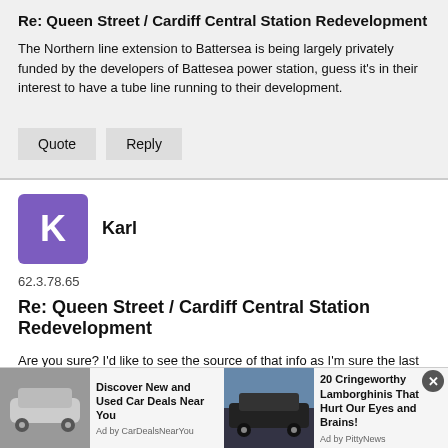Re: Queen Street / Cardiff Central Station Redevelopment
The Northern line extension to Battersea is being largely privately funded by the developers of Battesea power station, guess it's in their interest to have a tube line running to their development.
Quote  Reply
Karl
62.3.78.65
Re: Queen Street / Cardiff Central Station Redevelopment
Are you sure? I'd like to see the source of that info as I'm sure the last govt announcement of infrastructure projects specifically mentioned funding for this.
[Figure (infographic): Advertisement bar with two ad units: 'Discover New and Used Car Deals Near You' with car image, and '20 Cringeworthy Lamborghinis That Hurt Our Eyes and Brains!' with car image. Close button visible.]